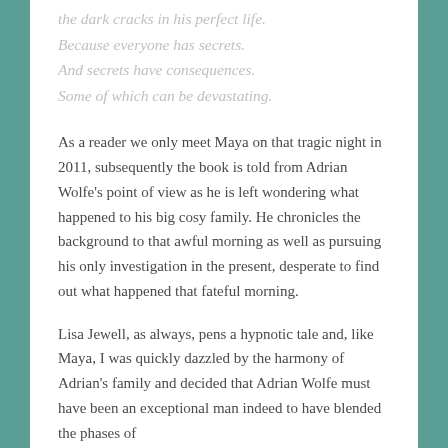the dark cracks in his perfect life.
Because everyone has secrets.
And secrets have consequences.
Some of which can be devastating.
As a reader we only meet Maya on that tragic night in 2011, subsequently the book is told from Adrian Wolfe’s point of view as he is left wondering what happened to his big cosy family. He chronicles the background to that awful morning as well as pursuing his only investigation in the present, desperate to find out what happened that fateful morning.
Lisa Jewell, as always, pens a hypnotic tale and, like Maya, I was quickly dazzled by the harmony of Adrian’s family and decided that Adrian Wolfe must have been an exceptional man indeed to have blended the phases of